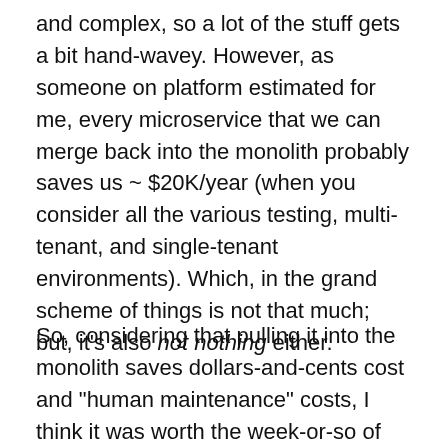and complex, so a lot of the stuff gets a bit hand-wavey. However, as someone on platform estimated for me, every microservice that we can merge back into the monolith probably saves us ~ $20K/year (when you consider all the various testing, multi-tenant, and single-tenant environments). Which, in the grand scheme of things is not that much; but, it's also not nothing either.
So, considering that pulling it into the monolith saves dollars-and-cents cost and "human maintenance" costs, I think it was worth the week-or-so of time that it took me to get it all working.